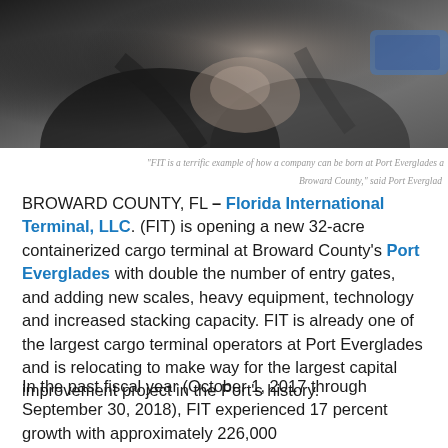[Figure (photo): Two people shaking hands, shown from shoulders down, wearing business attire. Dark background.]
"FIT is a terrific example of how a company can be born at Port Everglades and grow in Broward County," said Port Everglades
BROWARD COUNTY, FL – Florida International Terminal, LLC. (FIT) is opening a new 32-acre containerized cargo terminal at Broward County's Port Everglades with double the number of entry gates, and adding new scales, heavy equipment, technology and increased stacking capacity. FIT is already one of the largest cargo terminal operators at Port Everglades and is relocating to make way for the largest capital improvement project in the Port's history.
In the past fiscal year (October 1, 2017 through September 30, 2018), FIT experienced 17 percent growth with approximately 226,000